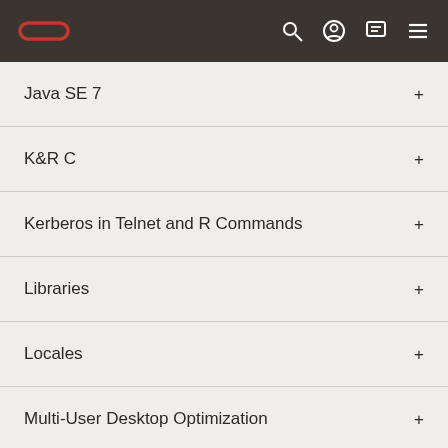Oracle navigation header with logo and icons
Java SE 7
K&R C
Kerberos in Telnet and R Commands
Libraries
Locales
Multi-User Desktop Optimization
Network SMF Service...